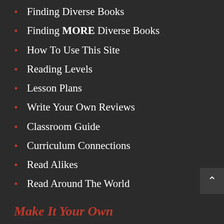Finding Diverse Books
Finding MORE Diverse Books
How To Use This Site
Reading Levels
Lesson Plans
Write Your Own Reviews
Classroom Guide
Curriculum Connections
Read Alikes
Read Around The World
Make It Your Own